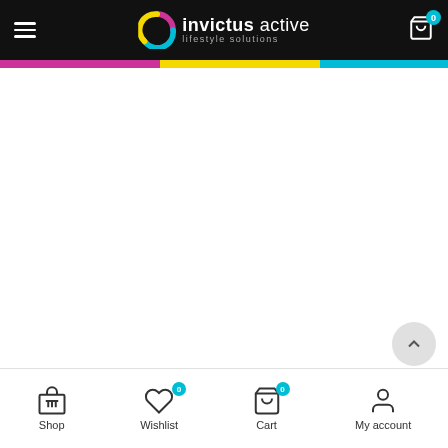invictus active lifestyle solutions — navigation header with logo and cart
[Figure (screenshot): Website screenshot showing Invictus Active lifestyle solutions homepage with black navigation header, color stripe (pink, yellow, teal), white content area, teal lower section with yellow card element and 'What' text, and bottom navigation bar with Shop, Wishlist, Cart, My account icons]
Shop | Wishlist 0 | Cart 0 | My account